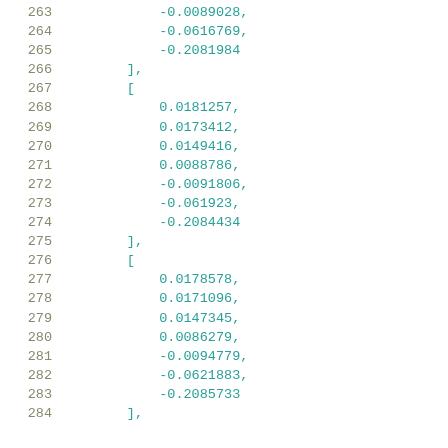263    -0.0089028,
264    -0.0616769,
265    -0.2081984
266    ],
267    [
268     0.0181257,
269     0.0173412,
270     0.0149416,
271     0.0088786,
272     -0.0091806,
273     -0.061923,
274     -0.2084434
275    ],
276    [
277     0.0178578,
278     0.0171096,
279     0.0147345,
280     0.0086279,
281     -0.0094779,
282     -0.0621883,
283     -0.2085733
284    ],